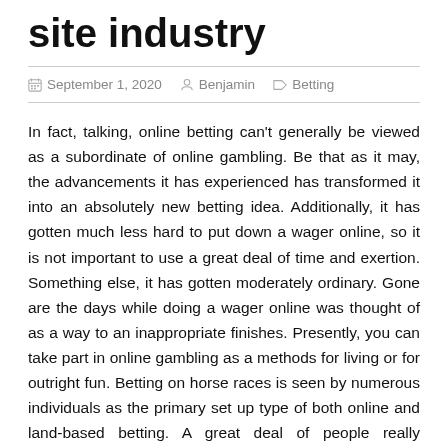site industry
September 1, 2020  Benjamin  Betting
In fact, talking, online betting can't generally be viewed as a subordinate of online gambling. Be that as it may, the advancements it has experienced has transformed it into an absolutely new betting idea. Additionally, it has gotten much less hard to put down a wager online, so it is not important to use a great deal of time and exertion. Something else, it has gotten moderately ordinary. Gone are the days while doing a wager online was thought of as a way to an inappropriate finishes. Presently, you can take part in online gambling as a methods for living or for outright fun. Betting on horse races is seen by numerous individuals as the primary set up type of both online and land-based betting. A great deal of people really imagines that for individuals to make a wager was the fundamental factor in why pony hustling was concocted. Regardless of whether this thought can't be demonstrated, the